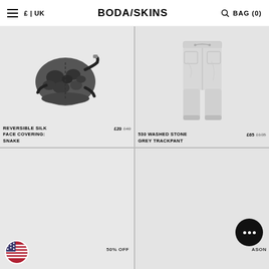£ | UK   BODA/SKINS   BAG (0)
[Figure (photo): Reversible silk face covering in camo snake pattern, grey and black]
REVERSIBLE SILK FACE COVERING: SNAKE  £20  £40
[Figure (photo): 530 Washed Stone Grey Trackpant, light grey joggers on white background]
530 WASHED STONE GREY TRACKPANT  £65  £135
[Figure (photo): Bottom left product cell with US flag circle and 50% OFF badge]
[Figure (photo): Bottom right product cell with season badge]